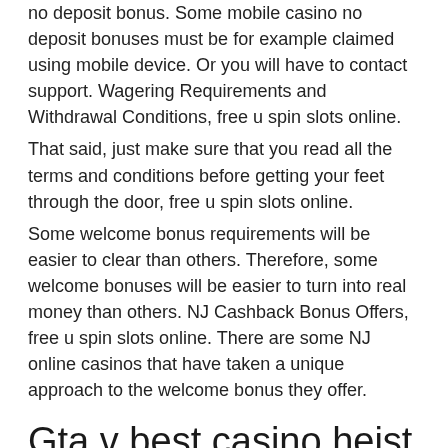no deposit bonus. Some mobile casino no deposit bonuses must be for example claimed using mobile device. Or you will have to contact support. Wagering Requirements and Withdrawal Conditions, free u spin slots online.
That said, just make sure that you read all the terms and conditions before getting your feet through the door, free u spin slots online.
Some welcome bonus requirements will be easier to clear than others. Therefore, some welcome bonuses will be easier to turn into real money than others. NJ Cashback Bonus Offers, free u spin slots online. There are some NJ online casinos that have taken a unique approach to the welcome bonus they offer.
Gta v best casino heist setup
Could you get a free spins bonus? be sure to